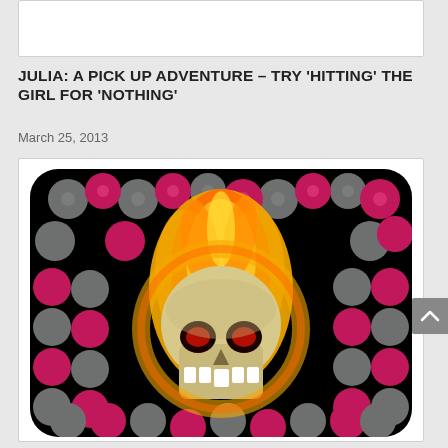JULIA: A PICK UP ADVENTURE – TRY 'HITTING' THE GIRL FOR 'NOTHING'
March 25, 2013
[Figure (illustration): Game app icon showing a flaming skull surrounded by grey bomb balls and pink/magenta bomb balls on a black background, with rounded corners.]